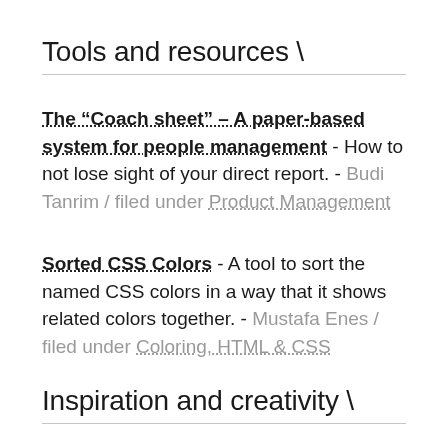Tools and resources ↘
The “Coach sheet” – A paper-based system for people management - How to not lose sight of your direct report. - Budi Tanrim / filed under Product Management
Sorted CSS Colors - A tool to sort the named CSS colors in a way that it shows related colors together. - Mustafa Enes / filed under Coloring, HTML & CSS
Inspiration and creativity ↘